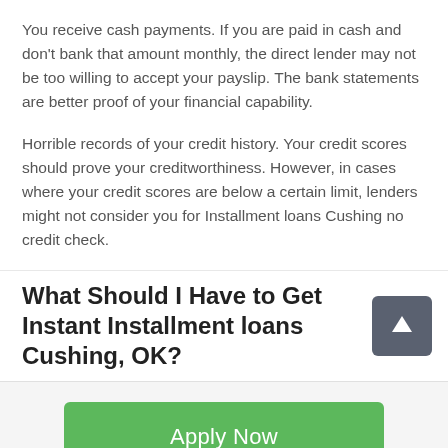You receive cash payments. If you are paid in cash and don't bank that amount monthly, the direct lender may not be too willing to accept your payslip. The bank statements are better proof of your financial capability.
Horrible records of your credit history. Your credit scores should prove your creditworthiness. However, in cases where your credit scores are below a certain limit, lenders might not consider you for Installment loans Cushing no credit check.
What Should I Have to Get Instant Installment loans Cushing, OK?
Apply Now
Applying does NOT affect your credit score!
No credit check to apply.